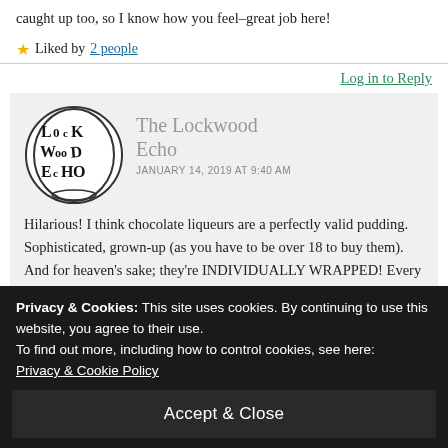caught up too, so I know how you feel–great job here!
★ Liked by 2 people
Log in to Reply
[Figure (logo): The Lockwood Echo circular logo with stylized text]
The Lockwood Echo
JANUARY 14, 2019 AT 9:40 AM
Hilarious! I think chocolate liqueurs are a perfectly valid pudding. Sophisticated, grown-up (as you have to be over 18 to buy them). And for heaven's sake; they're INDIVIDUALLY WRAPPED! Every one
Privacy & Cookies: This site uses cookies. By continuing to use this website, you agree to their use.
To find out more, including how to control cookies, see here: Privacy & Cookie Policy
Accept & Close